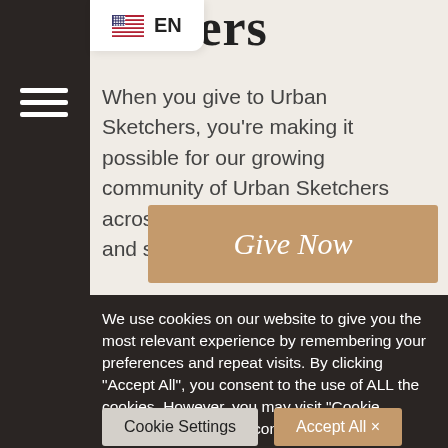…etchers
When you give to Urban Sketchers, you're making it possible for our growing community of Urban Sketchers across the globe to gather, draw, and share together.
Give Now
We use cookies on our website to give you the most relevant experience by remembering your preferences and repeat visits. By clicking "Accept All", you consent to the use of ALL the cookies. However, you may visit "Cookie Settings" to provide a controlled consent.
Cookie Settings
Accept All ×